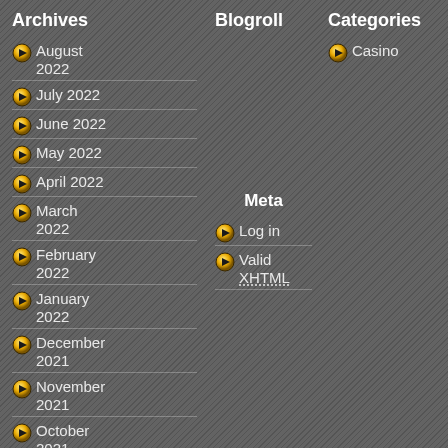Archives
August 2022
July 2022
June 2022
May 2022
April 2022
March 2022
February 2022
January 2022
December 2021
November 2021
October 2021
September 2021
August 2021
July 2021
Blogroll
Meta
Log in
Valid XHTML
Categories
Casino